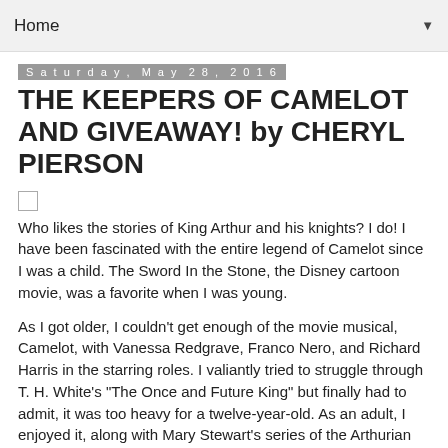Home
Saturday, May 28, 2016
THE KEEPERS OF CAMELOT AND GIVEAWAY! by CHERYL PIERSON
Who likes the stories of King Arthur and his knights? I do! I have been fascinated with the entire legend of Camelot since I was a child. The Sword In the Stone, the Disney cartoon movie, was a favorite when I was young.
As I got older, I couldn’t get enough of the movie musical, Camelot, with Vanessa Redgrave, Franco Nero, and Richard Harris in the starring roles. I valiantly tried to struggle through T. H. White’s “The Once and Future King” but finally had to admit, it was too heavy for a twelve-year-old. As an adult, I enjoyed it, along with Mary Stewart’s series of the Arthurian legend as told from Merlin’s POV—a “must read” set if you’re